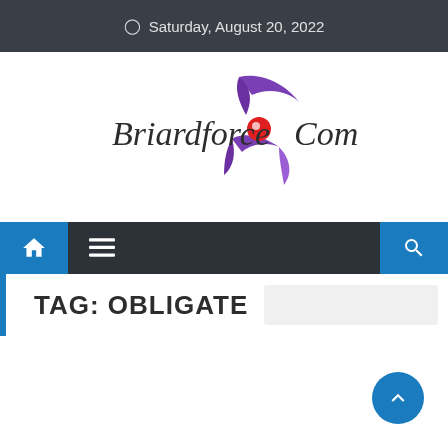Saturday, August 20, 2022
[Figure (logo): BriardForce.Com logo with stylized purple swoosh hand graphic and red circle accent]
[Figure (other): Navigation bar with home icon, menu icon, and search icon]
TAG: OBLIGATE